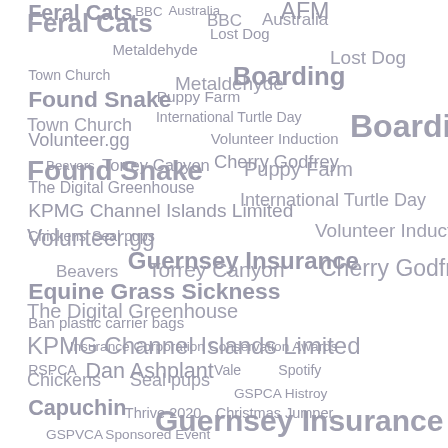[Figure (infographic): A word cloud / tag cloud featuring various terms related to an animal welfare or charity organization (GSPCA), including topics like 'Feral Cats', 'Boarding', 'Guernsey Insurance', 'Equine Grass Sickness', 'Dan Ashplant', 'Capuchin', 'KPMG Channel Islands Limited', 'Found Snake', 'Volunteer.gg', 'Cherry Godfrey', 'Torrey Canyon', 'Beavers', 'BBC', 'Australia', 'AFM', 'Lost Dog', 'Metaldehyde', 'Town Church', 'Puppy Farm', 'International Turtle Day', 'Volunteer Induction', 'The Digital Greenhouse', 'Chickens', 'Seal pups', 'Ban plastic carrier bags', 'Insurance Corporation Conservation Awards', 'RSPCA', 'Vale', 'Spotify', 'GSPCA Histroy', 'Christmas Jumper', 'Thrive 2020', 'GSPVCA', 'Sponsored Event'. All text is in muted grey/lavender color on white background, with varying font sizes indicating frequency/importance.]